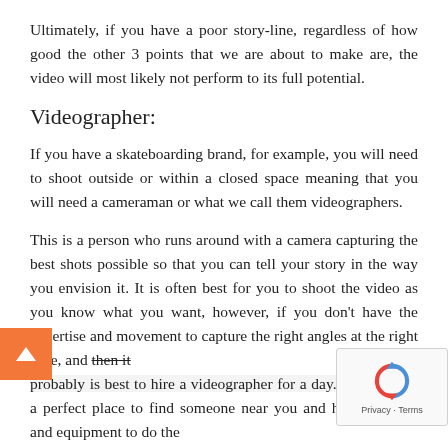Ultimately, if you have a poor story-line, regardless of how good the other 3 points that we are about to make are, the video will most likely not perform to its full potential.
Videographer:
If you have a skateboarding brand, for example, you will need to shoot outside or within a closed space meaning that you will need a cameraman or what we call them videographers.
This is a person who runs around with a camera capturing the best shots possible so that you can tell your story in the way you envision it. It is often best for you to shoot the video as you know what you want, however, if you don't have the expertise and movement to capture the right angles at the right time, and then it probably is best to hire a videographer for a day. Instagram is a perfect place to find someone near you and has the talent and equipment to do the